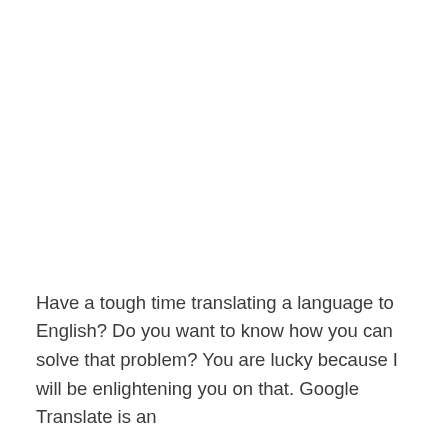Have a tough time translating a language to English? Do you want to know how you can solve that problem? You are lucky because I will be enlightening you on that. Google Translate is an